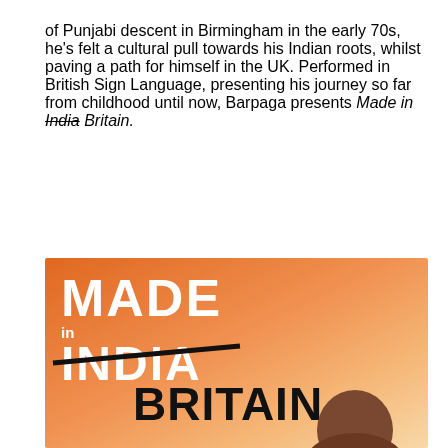of Punjabi descent in Birmingham in the early 70s, he's felt a cultural pull towards his Indian roots, whilst paving a path for himself in the UK. Performed in British Sign Language, presenting his journey so far from childhood until now, Barpaga presents Made in India Britain.
[Figure (illustration): Orange/warm-gradient poster for 'Made in India Britain' show. Large white bold text reads 'MADE in INDIA' with INDIA struck through by a diagonal black line, and 'BRITAIN' written in large black bold text overlapping. A bald man's head is visible at the bottom right of the poster.]